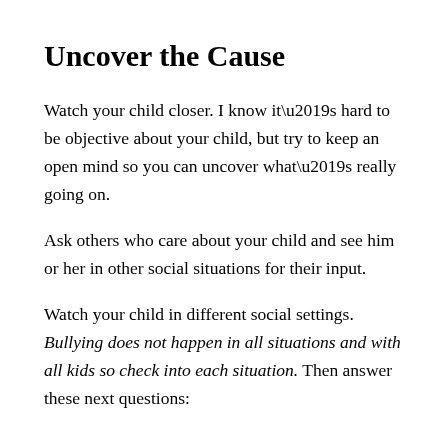Uncover the Cause
Watch your child closer. I know it’s hard to be objective about your child, but try to keep an open mind so you can uncover what’s really going on.
Ask others who care about your child and see him or her in other social situations for their input.
Watch your child in different social settings. Bullying does not happen in all situations and with all kids so check into each situation. Then answer these next questions: